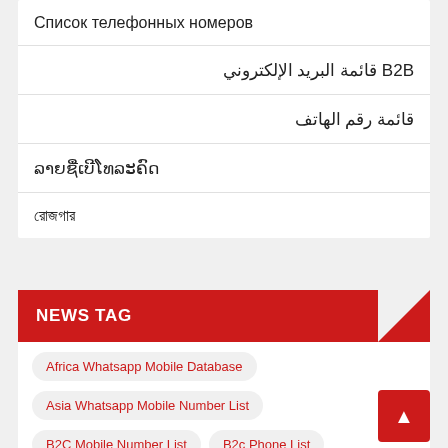Список телефонных номеров
B2B قائمة البريد الإلكتروني
قائمة رقم الهاتف
ລາຍຊື່ເບີໂທລະຄົດ
রোজগার
NEWS TAG
Africa Whatsapp Mobile Database
Asia Whatsapp Mobile Number List
B2C Mobile Number List
B2c Phone List